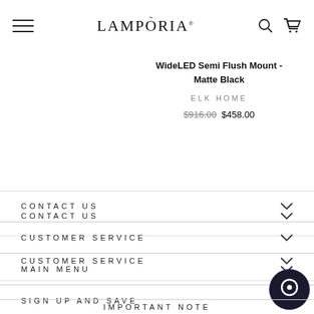LAMPORIA
WideLED Semi Flush Mount - Matte Black
ELK HOME
$916.00  $458.00
CONTACT US
CUSTOMER SERVICE
MAIN MENU
SIGN UP AND SAVE